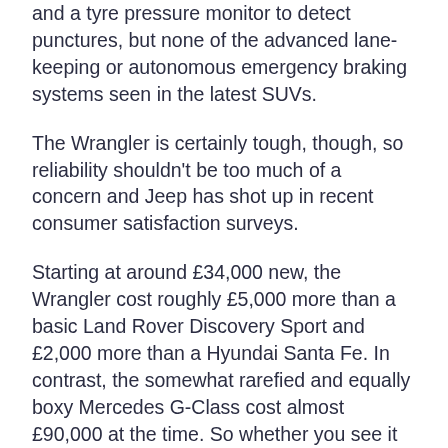and a tyre pressure monitor to detect punctures, but none of the advanced lane-keeping or autonomous emergency braking systems seen in the latest SUVs.
The Wrangler is certainly tough, though, so reliability shouldn't be too much of a concern and Jeep has shot up in recent consumer satisfaction surveys.
Starting at around £34,000 new, the Wrangler cost roughly £5,000 more than a basic Land Rover Discovery Sport and £2,000 more than a Hyundai Santa Fe. In contrast, the somewhat rarefied and equally boxy Mercedes G-Class cost almost £90,000 at the time. So whether you see it as an outdated, expensive family car, or a great value, iconic retro 4x4 is down to how you look at it.
With little change in its looks or specification, a used or nearly new Jeep Wrangler can be a wise choice, but